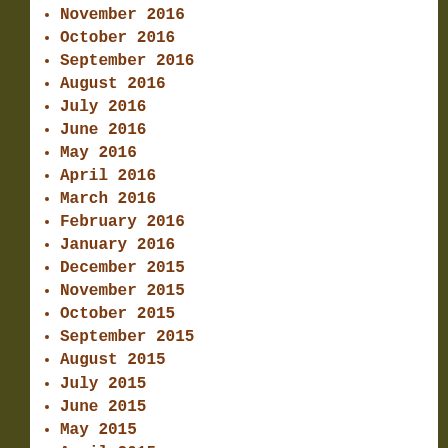November 2016
October 2016
September 2016
August 2016
July 2016
June 2016
May 2016
April 2016
March 2016
February 2016
January 2016
December 2015
November 2015
October 2015
September 2015
August 2015
July 2015
June 2015
May 2015
April 2015
February 2015
January 2015
December 2014
November 2014
October 2014